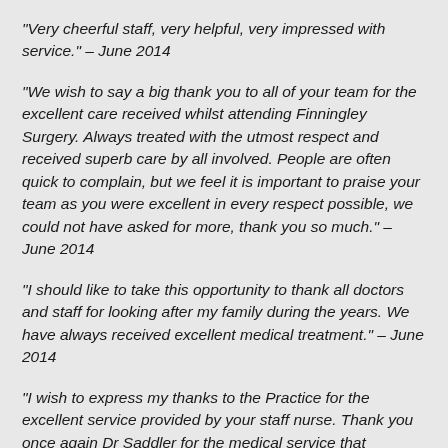“Very cheerful staff, very helpful, very impressed with service.” – June 2014
“We wish to say a big thank you to all of your team for the excellent care received whilst attending Finningley Surgery. Always treated with the utmost respect and received superb care by all involved. People are often quick to complain, but we feel it is important to praise your team as you were excellent in every respect possible, we could not have asked for more, thank you so much.” – June 2014
“I should like to take this opportunity to thank all doctors and staff for looking after my family during the years. We have always received excellent medical treatment.” – June 2014
“I wish to express my thanks to the Practice for the excellent service provided by your staff nurse. Thank you once again Dr Saddler for the medical service that